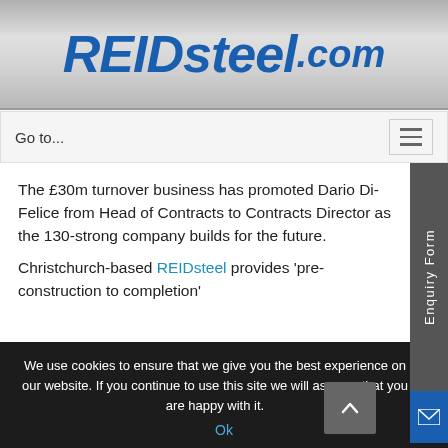REIDsteel.com
Go to...
The £30m turnover business has promoted Dario Di-Felice from Head of Contracts to Contracts Director as the 130-strong company builds for the future.
Christchurch-based REIDsteel provides 'pre-construction to completion'
We use cookies to ensure that we give you the best experience on our website. If you continue to use this site we will assume that you are happy with it.
Ok